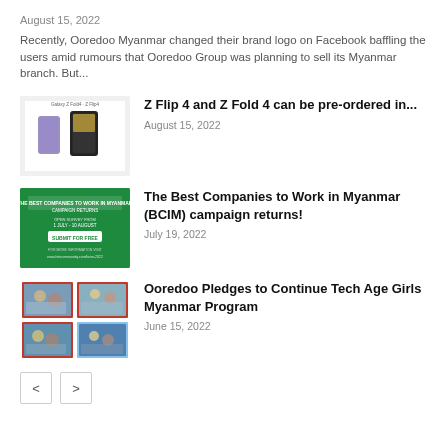August 15, 2022
Recently, Ooredoo Myanmar changed their brand logo on Facebook baffling the users amid rumours that Ooredoo Group was planning to sell its Myanmar branch. But...
[Figure (photo): Samsung Galaxy Z Flip 4 and Z Fold 4 phones on white background]
Z Flip 4 and Z Fold 4 can be pre-ordered in...
August 15, 2022
[Figure (photo): Green promotional banner for The Best Companies to Work in Myanmar (BCIM) campaign]
The Best Companies to Work in Myanmar (BCIM) campaign returns!
July 19, 2022
[Figure (photo): Grid of photos showing young girls working on technology projects]
Ooredoo Pledges to Continue Tech Age Girls Myanmar Program
June 15, 2022